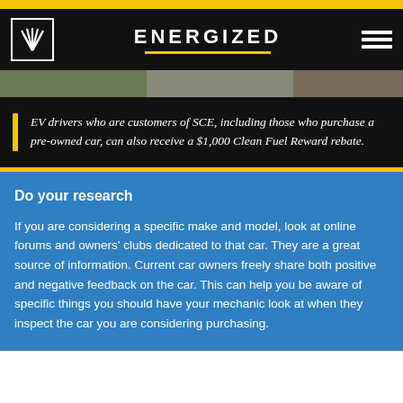ENERGIZED
[Figure (photo): Image strip showing partial view of people or outdoor scene]
EV drivers who are customers of SCE, including those who purchase a pre-owned car, can also receive a $1,000 Clean Fuel Reward rebate.
Do your research
If you are considering a specific make and model, look at online forums and owners' clubs dedicated to that car. They are a great source of information. Current car owners freely share both positive and negative feedback on the car. This can help you be aware of specific things you should have your mechanic look at when they inspect the car you are considering purchasing.